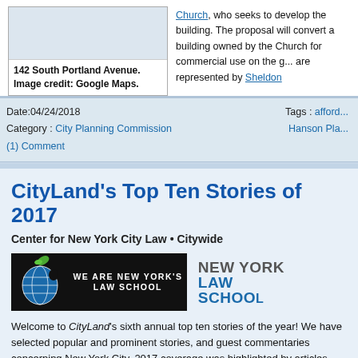[Figure (photo): Image of 142 South Portland Avenue, Google Maps street view]
142 South Portland Avenue. Image credit: Google Maps.
Church, who seeks to develop the building. The proposal will convert a building owned by the Church for commercial use on the ground floor. are represented by Sheldon
Date:04/24/2018
Category : City Planning Commission
(1) Comment
Tags : afford...
Hanson Pla...
CityLand's Top Ten Stories of 2017
Center for New York City Law • Citywide
[Figure (logo): New York Law School logo with apple globe and 'We Are New York's Law School' banner]
Welcome to CityLand's sixth annual top ten stories of the year! We have selected popular and prominent stories, and guest commentaries concerning New York City. 2017 coverage was highlighted by articles concerning the approval of construction workers, proposals for the creation of more affordable housing, ne